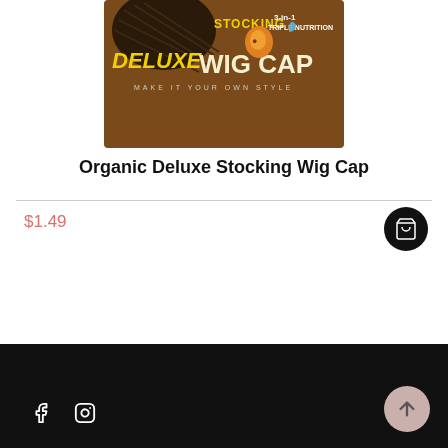[Figure (photo): Product image of Organic Deluxe Stocking Wig Cap packaging — brown box with yellow text reading DELUXE WIG CAP, STOCKING, 3-in-1 TRIPLE NUTRITION, MAKE IT YOUR OWN STYLE]
Organic Deluxe Stocking Wig Cap
$1.49
[Figure (illustration): Dark circular add-to-cart button with shopping cart icon]
[Figure (illustration): Facebook and Instagram social media icons in white on dark footer]
[Figure (illustration): Pink/mauve circular back-to-top button with upward arrow]